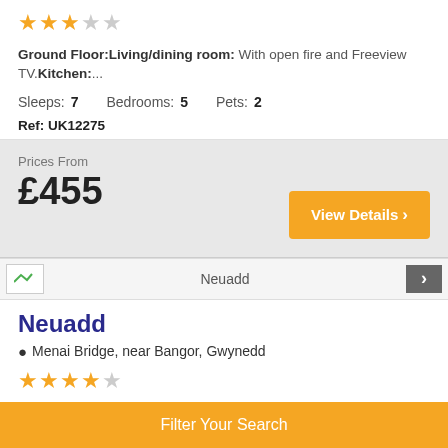Ground Floor:Living/dining room: With open fire and Freeview TV.Kitchen:...
Sleeps: 7  Bedrooms: 5  Pets: 2
Ref: UK12275
Prices From £455
View Details
Neuadd
Menai Bridge, near Bangor, Gwynedd
First Floor: Living/dining room: With wood burner, Smart TV and wooden floor. Sitting
Filter Your Search